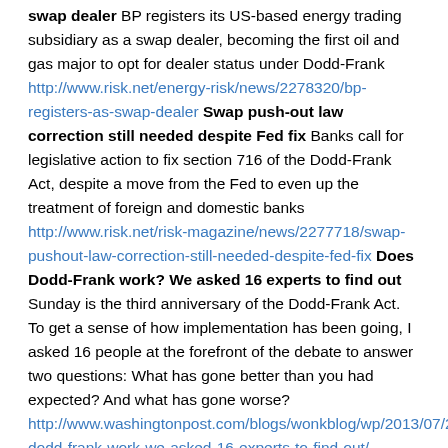swap dealer BP registers its US-based energy trading subsidiary as a swap dealer, becoming the first oil and gas major to opt for dealer status under Dodd-Frank http://www.risk.net/energy-risk/news/2278320/bp-registers-as-swap-dealer Swap push-out law correction still needed despite Fed fix Banks call for legislative action to fix section 716 of the Dodd-Frank Act, despite a move from the Fed to even up the treatment of foreign and domestic banks http://www.risk.net/risk-magazine/news/2277718/swap-pushout-law-correction-still-needed-despite-fed-fix Does Dodd-Frank work? We asked 16 experts to find out Sunday is the third anniversary of the Dodd-Frank Act. To get a sense of how implementation has been going, I asked 16 people at the forefront of the debate to answer two questions: What has gone better than you had expected? And what has gone worse? http://www.washingtonpost.com/blogs/wonkblog/wp/2013/07/20/does-dodd-frank-work-we-asked-16-experts-to-find-out/
(1.3) INTERNATIONAL & MIXED
Asia lax on swaps compliance Dodd-Frank deadline for...